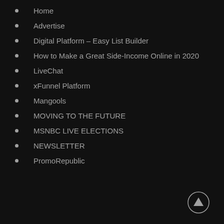Home
Advertise
Digital Platform – Easy List Builder
How to Make a Great Side-Income Online in 2020
LiveChat
xFunnel Platform
Mangools
MOVING TO THE FUTURE
MSNBC LIVE ELECTIONS
NEWSLETTER
PromoRepublic